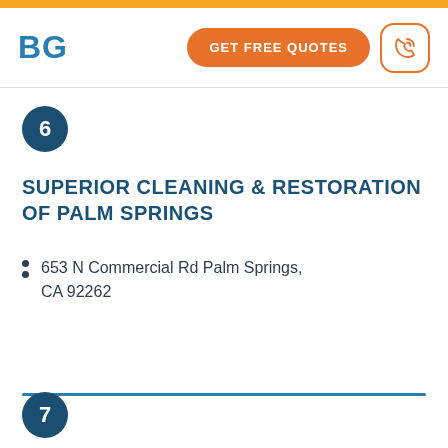BG | GET FREE QUOTES
6
SUPERIOR CLEANING & RESTORATION OF PALM SPRINGS
653 N Commercial Rd Palm Springs, CA 92262
7